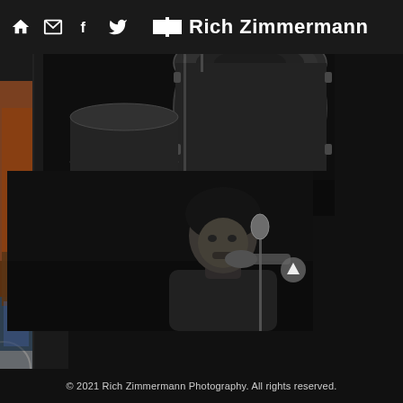Rich Zimmermann
[Figure (photo): Black and white photograph of drums/percussion instruments on a dark stage, top portion showing drum kit close-up]
[Figure (photo): Black and white photograph of a person playing trumpet or similar brass instrument into a microphone on a dark stage]
© 2021 Rich Zimmermann Photography. All rights reserved.